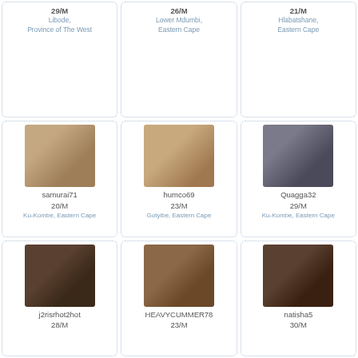29/M
Libode, Province of The West
26/M
Lower Mdumbi, Eastern Cape
21/M
Hlabatshane, Eastern Cape
[Figure (photo): Profile photo of samurai71]
samurai71
20/M
Ku-Kombe, Eastern Cape
[Figure (photo): Profile photo of humco69]
humco69
23/M
Gotyibe, Eastern Cape
[Figure (photo): Profile photo of Quagga32]
Quagga32
29/M
Ku-Kombe, Eastern Cape
[Figure (photo): Profile photo of j2risrhot2hot]
j2risrhot2hot
28/M
[Figure (photo): Profile photo of HEAVYCUMMER78]
HEAVYCUMMER78
23/M
[Figure (photo): Profile photo of natisha5]
natisha5
30/M